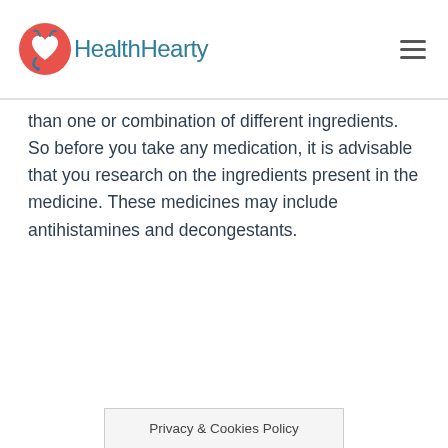HealthHearty
than one or combination of different ingredients. So before you take any medication, it is advisable that you research on the ingredients present in the medicine. These medicines may include antihistamines and decongestants.
Privacy & Cookies Policy